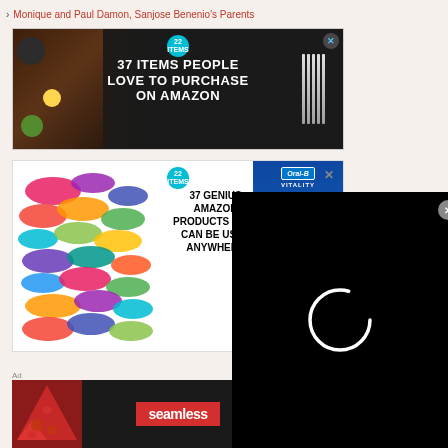George Drouin, Leonardo Drouin's Father
› Monique and Paul Damon, Sanjose Benenio's Parents
[Figure (screenshot): Advertisement banner: '37 ITEMS PEOPLE LOVE TO PURCHASE ON AMAZON' with kitchen knives background and teal badge showing '22']
[Figure (screenshot): Advertisement banner: '37 GENIUS AMAZON PRODUCTS THAT CAN BE USED ANYWHERE' with colorful scrunchies on left and Oral-B Vitality toothbrush ad on right]
[Figure (screenshot): Black video player overlay with loading spinner circle (white) and close button (X)]
CLOSE
[Figure (screenshot): Seamless food delivery advertisement showing pizza slices with 'seamless' logo and 'ORDER NOW' button]